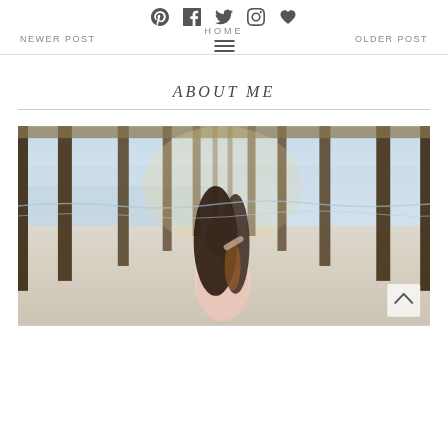Social icons: Pinterest, Facebook, Twitter, Instagram, Heart | NEWER POST | HOME | OLDER POST | hamburger menu
ABOUT ME
[Figure (photo): A woman with long dark hair standing on a beach under a pier, wearing a pink outfit, golden hour lighting, ocean waves and pier pillars visible in background]